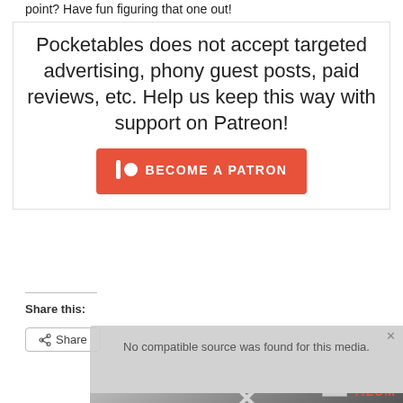point? Have fun figuring that one out!
Pocketables does not accept targeted advertising, phony guest posts, paid reviews, etc. Help us keep this way with support on Patreon!
[Figure (other): Orange 'BECOME A PATRON' button with Patreon logo (bar and circle icon) on coral/orange background]
Share this:
[Figure (other): Share button with share icon]
[Figure (other): Video overlay popup with message 'No compatible source was found for this media.' over a blurred/darkened photo with TIZUM branding and X symbol]